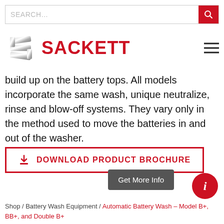SEARCH...
[Figure (logo): Sackett logo with stylized S icon and red SACKETT wordmark, hamburger menu icon on right]
build up on the battery tops. All models incorporate the same wash, unique neutralize, rinse and blow-off systems. They vary only in the method used to move the batteries in and out of the washer.
DOWNLOAD PRODUCT BROCHURE
Get More Info
Shop / Battery Wash Equipment / Automatic Battery Wash – Model B+, BB+, and Double B+